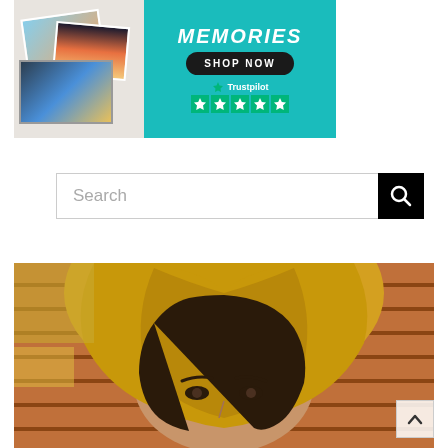[Figure (illustration): Advertisement banner for a photo book service. Left side shows a collage of printed photos, right side has teal background with 'MEMORIES' text, 'SHOP NOW' dark button, and Trustpilot 5-star rating logo.]
Search
[Figure (photo): Close-up portrait of a young woman wearing a yellow hoodie pulled over her head, against a brick wall background. Only her eyes and part of her face are visible under the hood.]